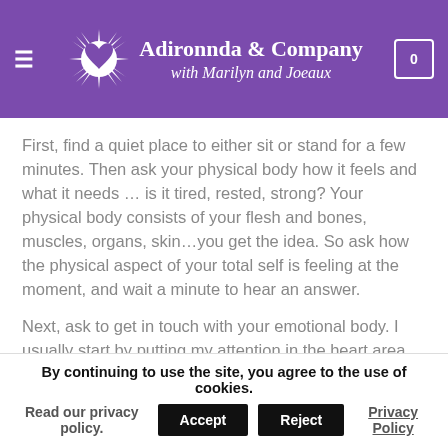Adironnda & Company with Marilyn and Joeaux
First, find a quiet place to either sit or stand for a few minutes. Then ask your physical body how it feels and what it needs … is it tired, rested, strong? Your physical body consists of your flesh and bones, muscles, organs, skin…you get the idea. So ask how the physical aspect of your total self is feeling at the moment, and wait a minute to hear an answer.
Next, ask to get in touch with your emotional body. I usually start by putting my attention in the heart area. Ask yourself how you're feeling "emotionally" at the moment. Are you happy and neutral anxious…? Ask your emotional aspect
By continuing to use the site, you agree to the use of cookies. Read our privacy policy.